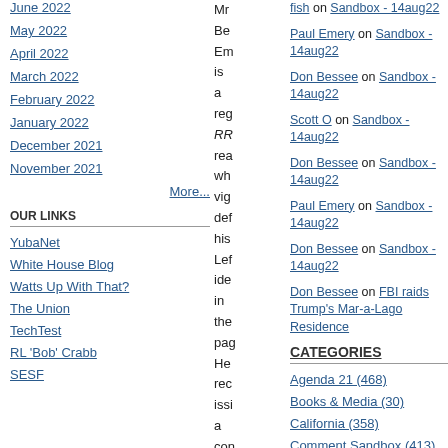June 2022
May 2022
April 2022
March 2022
February 2022
January 2022
December 2021
November 2021
More...
OUR LINKS
YubaNet
White House Blog
Watts Up With That?
The Union
TechTest
RL 'Bob' Crabb
SESF
Mr Be Em is a reg RR rea wh vig def his Lef ide in the pag He rec issi a con abc
fish on Sandbox - 14aug22
Paul Emery on Sandbox - 14aug22
Don Bessee on Sandbox - 14aug22
Scott O on Sandbox - 14aug22
Don Bessee on Sandbox - 14aug22
Paul Emery on Sandbox - 14aug22
Don Bessee on Sandbox - 14aug22
Don Bessee on FBI raids Trump's Mar-a-Lago Residence
CATEGORIES
Agenda 21 (468)
Books & Media (30)
California (358)
Comment Sandbox (413)
Critical Thinking & Numeracy (1231)
Culture Comments (721)
Current Affairs (1744)
Film (7)